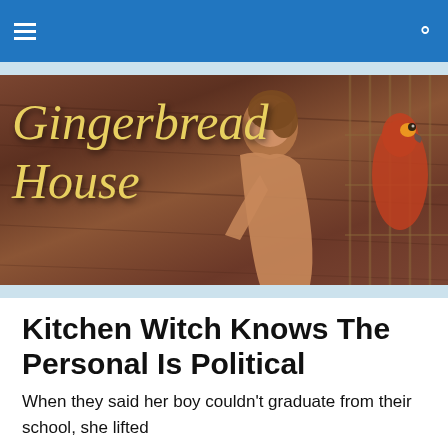≡  🔍
[Figure (illustration): Banner image with brown wood-textured background. 'Gingerbread House' in large italic gold/yellow serif font on the left. On the right: a woman with brown hair in a historical dress, facing right toward a red parrot in a cage.]
Kitchen Witch Knows The Personal Is Political
When they said her boy couldn't graduate from their school, she lifted
all the dirt from Mayor Turner's garden and showered it down, letting a new pitcher's mound form
on the field at the Mill Street park, whose budget